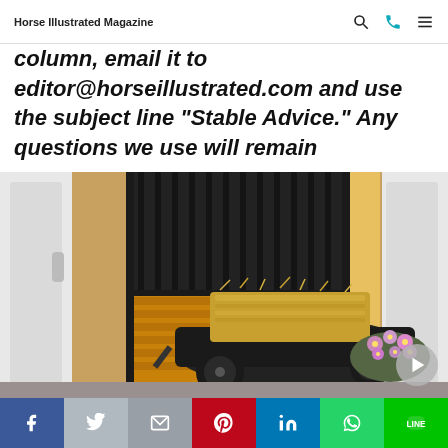Horse Illustrated Magazine
column, email it to editor@horseillustrated.com and use the subject line “Stable Advice.” Any questions we use will remain anonymous.
[Figure (photo): A black utility cart/wheelbarrow loaded with a hay bale, parked in front of a wooden horse stall door with metal bars above, and purple flowering plants to the right.]
Social share bar: Facebook, Twitter, Email, Pinterest, LinkedIn, WhatsApp, LINE